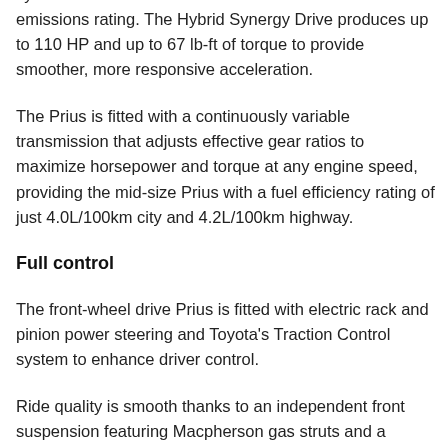system that achieves a remarkable Tier 2 Bin 3 emissions rating. The Hybrid Synergy Drive produces up to 110 HP and up to 67 lb-ft of torque to provide smoother, more responsive acceleration.
The Prius is fitted with a continuously variable transmission that adjusts effective gear ratios to maximize horsepower and torque at any engine speed, providing the mid-size Prius with a fuel efficiency rating of just 4.0L/100km city and 4.2L/100km highway.
Full control
The front-wheel drive Prius is fitted with electric rack and pinion power steering and Toyota's Traction Control system to enhance driver control.
Ride quality is smooth thanks to an independent front suspension featuring Macpherson gas struts and a